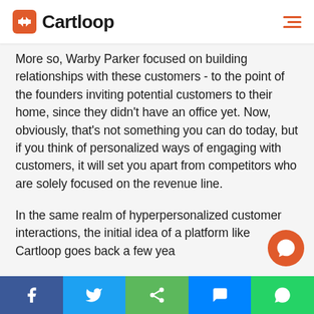Cartloop
More so, Warby Parker focused on building relationships with these customers - to the point of the founders inviting potential customers to their home, since they didn't have an office yet. Now, obviously, that's not something you can do today, but if you think of personalized ways of engaging with customers, it will set you apart from competitors who are solely focused on the revenue line.
In the same realm of hyperpersonalized customer interactions, the initial idea of a platform like Cartloop goes back a few yea…